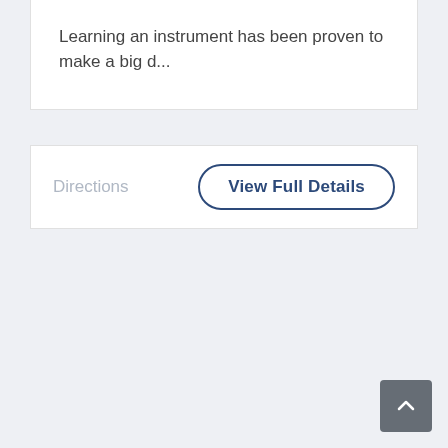Learning an instrument has been proven to make a big d...
Directions
View Full Details